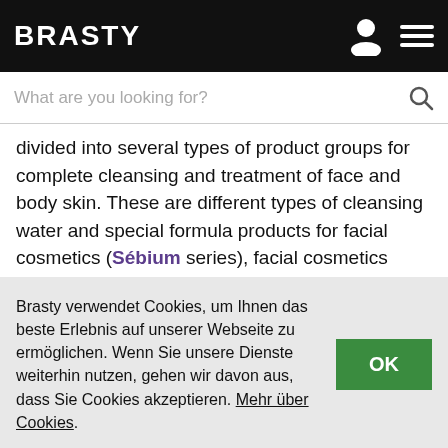BRASTY
What are you looking for?
divided into several types of product groups for complete cleansing and treatment of face and body skin. These are different types of cleansing water and special formula products for facial cosmetics (Sébium series), facial cosmetics (Sensibio series), or moisturizers for body cosmetics (Hydrabio or Atoderm series). Very friendly is then a gentle and dermatologically tested cosmetics for children, which is distributed in the ABCDerm line.
Brasty verwendet Cookies, um Ihnen das beste Erlebnis auf unserer Webseite zu ermöglichen. Wenn Sie unsere Dienste weiterhin nutzen, gehen wir davon aus, dass Sie Cookies akzeptieren. Mehr über Cookies.